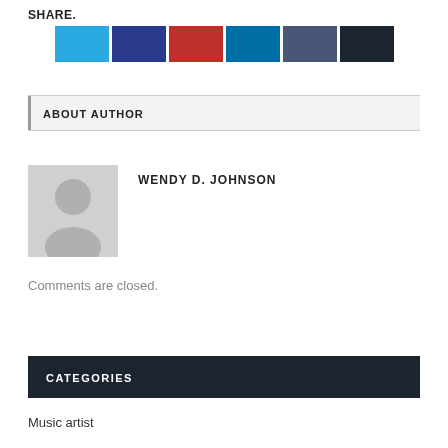SHARE.
[Figure (other): Six social media share buttons in colors: light blue (Twitter), dark blue (Facebook), red (YouTube/Google+), teal blue (LinkedIn), slate blue (Tumblr), dark navy (other)]
ABOUT AUTHOR
[Figure (photo): Generic grey placeholder avatar silhouette of a person]
WENDY D. JOHNSON
Comments are closed.
CATEGORIES
Music artist